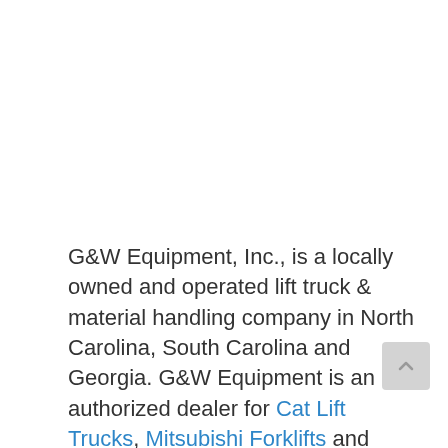G&W Equipment, Inc., is a locally owned and operated lift truck & material handling company in North Carolina, South Carolina and Georgia. G&W Equipment is an authorized dealer for Cat Lift Trucks, Mitsubishi Forklifts and Jungheinrich Forklifts. We have mobile service technicians supplied with quality forklift parts to service all makes and models of lift trucks at your facility. With over 1,100 trucks in our rental fleet, we've got you covered for your forklift and material